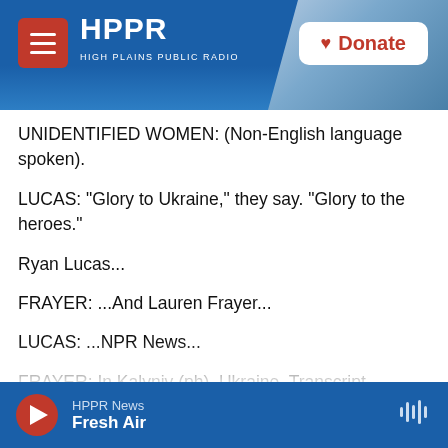[Figure (screenshot): HPPR High Plains Public Radio website header with logo, hamburger menu, and Donate button. Background shows blue sky with partial photo.]
UNIDENTIFIED WOMEN: (Non-English language spoken).
LUCAS: "Glory to Ukraine," they say. "Glory to the heroes."
Ryan Lucas...
FRAYER: ...And Lauren Frayer...
LUCAS: ...NPR News...
FRAYER: In Kalyniv (ph), Ukraine. Transcript provided by NPR. Copyright NPR.
HPPR News  Fresh Air